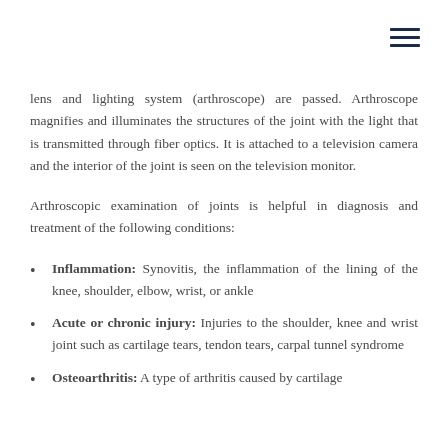lens and lighting system (arthroscope) are passed. Arthroscope magnifies and illuminates the structures of the joint with the light that is transmitted through fiber optics. It is attached to a television camera and the interior of the joint is seen on the television monitor.
Arthroscopic examination of joints is helpful in diagnosis and treatment of the following conditions:
Inflammation: Synovitis, the inflammation of the lining of the knee, shoulder, elbow, wrist, or ankle
Acute or chronic injury: Injuries to the shoulder, knee and wrist joint such as cartilage tears, tendon tears, carpal tunnel syndrome
Osteoarthritis: A type of arthritis caused by cartilage